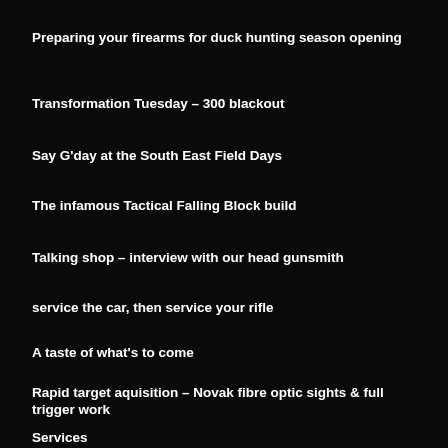Preparing your firearms for duck hunting season opening
Transformation Tuesday – 300 blackout
Say G'day at the South East Field Days
The infamous Tactical Falling Block build
Talking shop – interview with our head gunsmith
service the car, then service your rifle
A taste of what's to come
Rapid target aquisition – Novak fibre optic sights & full trigger work
Services